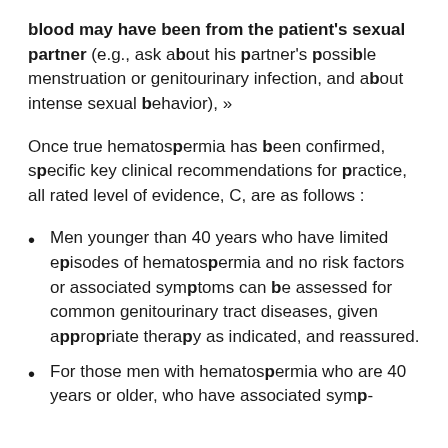blood may have been from the patient's sexual partner (e.g., ask about his partner's possible menstruation or genitourinary infection, and about intense sexual behavior), »
Once true hematospermia has been confirmed, specific key clinical recommendations for practice, all rated level of evidence, C, are as follows :
Men younger than 40 years who have limited episodes of hematospermia and no risk factors or associated symptoms can be assessed for common genitourinary tract diseases, given appropriate therapy as indicated, and reassured.
For those men with hematospermia who are 40 years or older, who have associated symp-